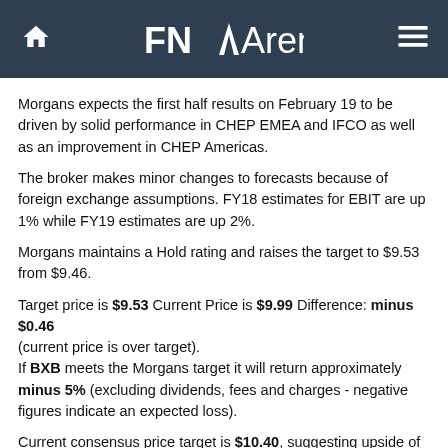FNArena
Morgans expects the first half results on February 19 to be driven by solid performance in CHEP EMEA and IFCO as well as an improvement in CHEP Americas.
The broker makes minor changes to forecasts because of foreign exchange assumptions. FY18 estimates for EBIT are up 1% while FY19 estimates are up 2%.
Morgans maintains a Hold rating and raises the target to $9.53 from $9.46.
Target price is $9.53 Current Price is $9.99 Difference: minus $0.46 (current price is over target). If BXB meets the Morgans target it will return approximately minus 5% (excluding dividends, fees and charges - negative figures indicate an expected loss).
Current consensus price target is $10.40, suggesting upside of 4.1% (ex-dividends)
The company's fiscal year ends in June.
Forecast for FY18:
Morgans forecasts a full year FY18 dividend of 38.92 cents and